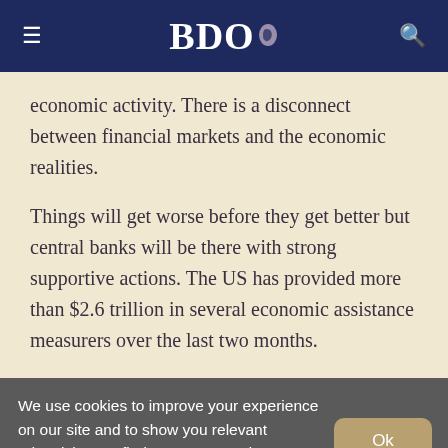BDO
economic activity. There is a disconnect between financial markets and the economic realities.
Things will get worse before they get better but central banks will be there with strong supportive actions. The US has provided more than $2.6 trillion in several economic assistance measurers over the last two months.
We use cookies to improve your experience on our site and to show you relevant advertising. To find out more, read our updated Privacy Policy